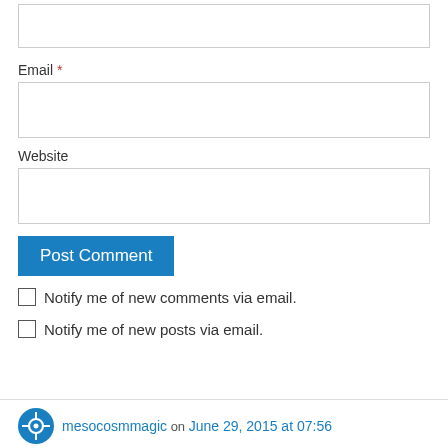[input field at top]
Email *
[email input field]
Website
[website input field]
Post Comment
Notify me of new comments via email.
Notify me of new posts via email.
mesocosmmagic on June 29, 2015 at 07:56